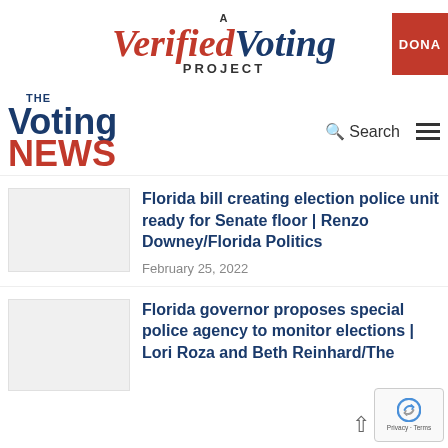[Figure (logo): A Verified Voting Project logo with red and dark blue italic text, and a red DONATE button on the right]
[Figure (logo): The Voting News logo with dark blue 'Voting' and red 'NEWS' text]
Search
[Figure (photo): Thumbnail image placeholder for first article]
Florida bill creating election police unit ready for Senate floor | Renzo Downey/Florida Politics
February 25, 2022
[Figure (photo): Thumbnail image placeholder for second article]
Florida governor proposes special police agency to monitor elections | Lori Roz and Beth Reinhard/The